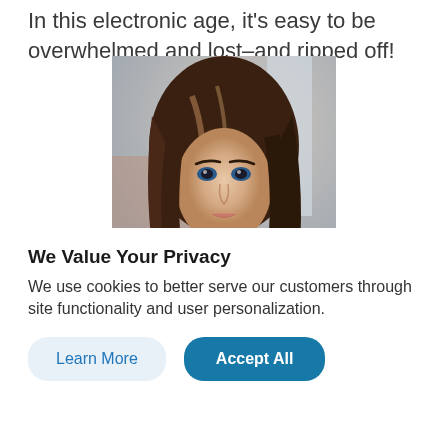In this electronic age, it's easy to be overwhelmed and lost–and ripped off!
[Figure (photo): Headshot portrait of a young woman with long brown hair with highlights, blue/green eyes, subtle smile, wearing a dark top, photographed against a light blurred background.]
We Value Your Privacy
We use cookies to better serve our customers through site functionality and user personalization.
Learn More   Accept All